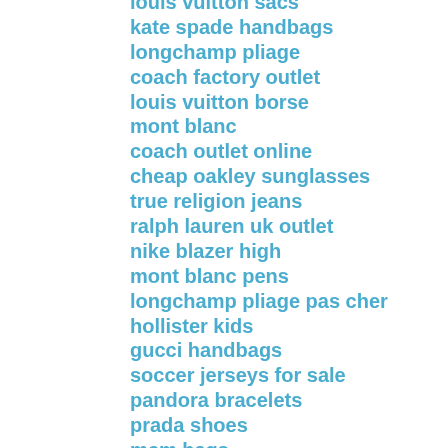louis vuitton sacs
kate spade handbags
longchamp pliage
coach factory outlet
louis vuitton borse
mont blanc
coach outlet online
cheap oakley sunglasses
true religion jeans
ralph lauren uk outlet
nike blazer high
mont blanc pens
longchamp pliage pas cher
hollister kids
gucci handbags
soccer jerseys for sale
pandora bracelets
prada shoes
mcm bags
pandora jewelry outlet
fitflops shoes
cheap jordan shoes